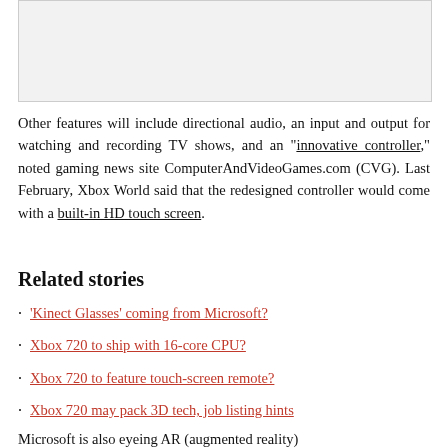[Figure (photo): Gray placeholder image area at the top of the page]
Other features will include directional audio, an input and output for watching and recording TV shows, and an "innovative controller," noted gaming news site ComputerAndVideoGames.com (CVG). Last February, Xbox World said that the redesigned controller would come with a built-in HD touch screen.
Related stories
'Kinect Glasses' coming from Microsoft?
Xbox 720 to ship with 16-core CPU?
Xbox 720 to feature touch-screen remote?
Xbox 720 may pack 3D tech, job listing hints
Microsoft is also eyeing AR (augmented reality)